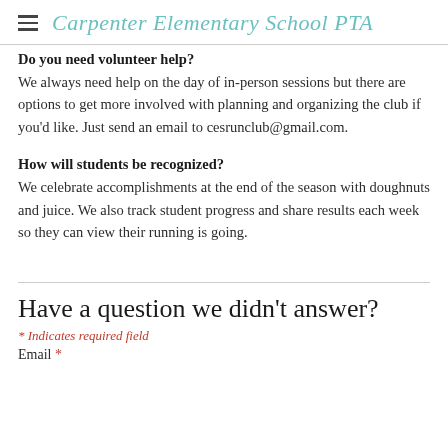Carpenter Elementary School PTA
Do you need volunteer help?
We always need help on the day of in-person sessions but there are options to get more involved with planning and organizing the club if you'd like. Just send an email to cesrunclub@gmail.com.
How will students be recognized?
We celebrate accomplishments at the end of the season with doughnuts and juice. We also track student progress and share results each week so they can view their running is going.
Have a question we didn't answer?
* Indicates required field
Email *